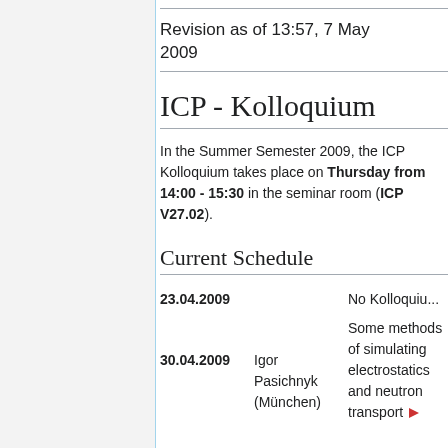Revision as of 13:57, 7 May 2009
ICP - Kolloquium
In the Summer Semester 2009, the ICP Kolloquium takes place on Thursday from 14:00 - 15:30 in the seminar room (ICP V27.02).
Current Schedule
| Date | Speaker | Description |
| --- | --- | --- |
| 23.04.2009 |  | No Kolloquiu... |
| 30.04.2009 | Igor Pasichnyk (München) | Some methods of simulating electrostatics and neutron transport |